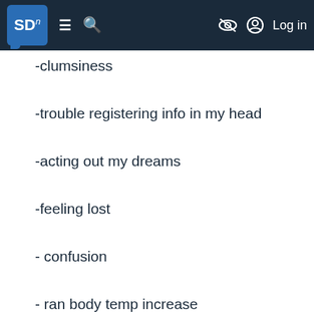SD n [navigation bar with logo, hamburger menu, search, eye/hide icon, Log in]
-clumsiness
-trouble registering info in my head
-acting out my dreams
-feeling lost
- confusion
- ran body temp increase